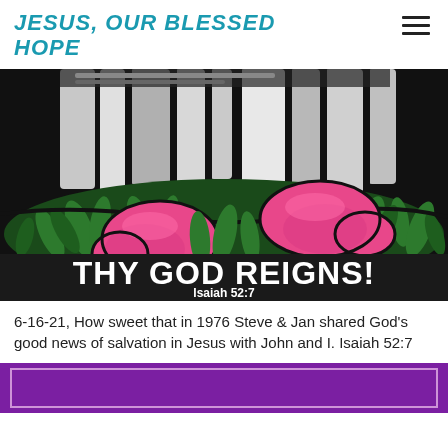JESUS, OUR BLESSED HOPE
[Figure (photo): Stained glass image showing two pink/magenta feet or shoes in grass with green and yellow foliage, dark background, with text overlay 'THY GOD REIGNS!' and 'Isaiah 52:7' in white bold text at the bottom of the image.]
6-16-21, How sweet that in 1976 Steve & Jan shared God's good news of salvation in Jesus with John and I. Isaiah 52:7
[Figure (photo): Bottom strip of a purple/violet image with a decorative inner border, partially visible.]